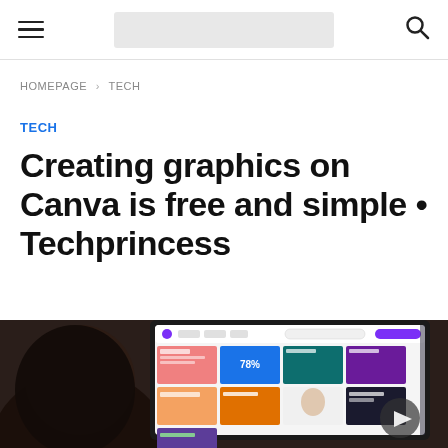Navigation bar with hamburger menu, logo placeholder, and search icon
HOMEPAGE > TECH
TECH
Creating graphics on Canva is free and simple • Techprincess
[Figure (photo): Person looking at a monitor displaying the Canva design platform interface with various templates and design thumbnails]